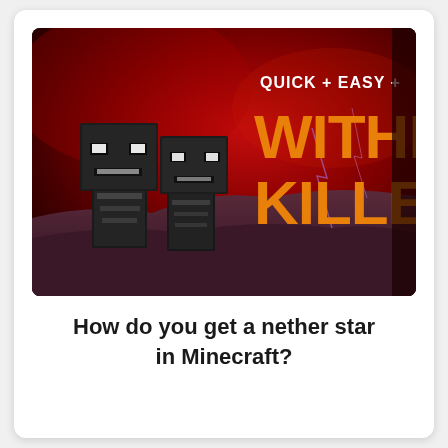[Figure (screenshot): Minecraft YouTube thumbnail showing two Wither boss mob heads (black, blocky, with white glowing eyes) against a dark red smoky background. Text on the right reads 'QUICK + EASY +' in white and 'WITHE KILLER' (cut off) in large bold orange letters.]
How do you get a nether star in Minecraft?